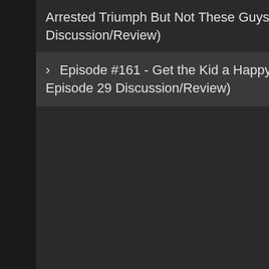Arrested Triumph But Not These Guys (Ghost Game Episode 30 Discussion/Review)
> Episode #161 - Get the Kid a Happy Meal (Ghost Game Episode 29 Discussion/Review)
Marc can
A.R. can b
The podc along wit
This epis
Question
We can b